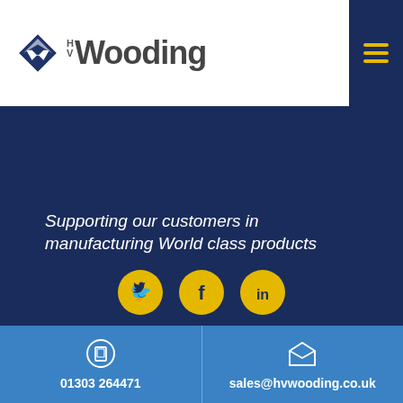[Figure (logo): HV Wooding company logo with blue diamond/arrow icon and bold 'HVWooding' text]
Supporting our customers in manufacturing World class products
[Figure (infographic): Three yellow circular social media icons: Twitter bird, Facebook f, LinkedIn in]
01303 264471
sales@hvwooding.co.uk